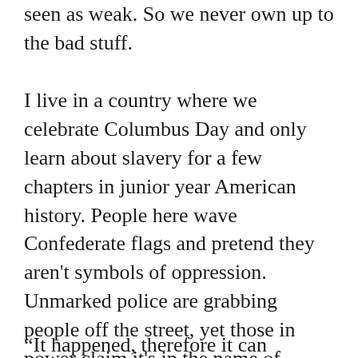seen as weak. So we never own up to the bad stuff.
I live in a country where we celebrate Columbus Day and only learn about slavery for a few chapters in junior year American history. People here wave Confederate flags and pretend they aren't symbols of oppression. Unmarked police are grabbing people off the street, yet those in power claim it's in the name of justice. It's hard to deny the warning signs here that were present in Germany years before the Nazis took over.
“It happened, therefore it can